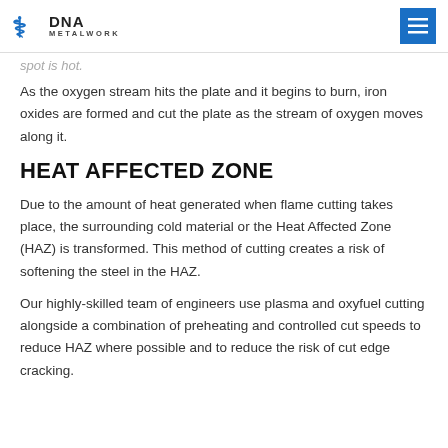DNA METALWORK
spot is hot.
As the oxygen stream hits the plate and it begins to burn, iron oxides are formed and cut the plate as the stream of oxygen moves along it.
HEAT AFFECTED ZONE
Due to the amount of heat generated when flame cutting takes place, the surrounding cold material or the Heat Affected Zone (HAZ) is transformed. This method of cutting creates a risk of softening the steel in the HAZ.
Our highly-skilled team of engineers use plasma and oxyfuel cutting alongside a combination of preheating and controlled cut speeds to reduce HAZ where possible and to reduce the risk of cut edge cracking.